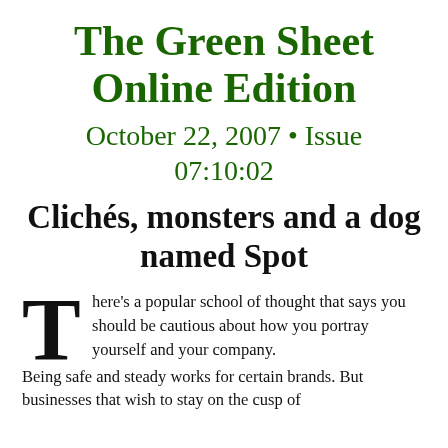The Green Sheet Online Edition
October 22, 2007 • Issue 07:10:02
Clichés, monsters and a dog named Spot
There's a popular school of thought that says you should be cautious about how you portray yourself and your company. Being safe and steady works for certain brands. But businesses that wish to stay on the cusp of